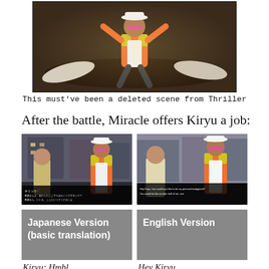[Figure (screenshot): Video game screenshot showing a character in an orange jacket, white hat, and pink sunglasses doing a dance pose over fallen enemies, resembling a Thriller scene.]
This must've been a deleted scene from Thriller
After the battle, Miracle offers Kiryu a job:
[Figure (screenshot): Left side: Japanese version screenshot showing two characters facing each other. Japanese subtitles visible at bottom.]
[Figure (screenshot): Right side: English version screenshot showing same scene with English subtitles visible at bottom.]
Japanese Version (basic translation)
English Version
Kiryu: Hmbl...
Hey Kiryu...